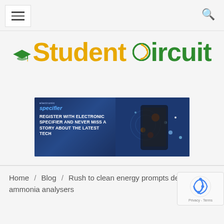Navigation bar with hamburger menu and search icon
[Figure (logo): Student Circuit logo with graduation cap icon in gold/green colors, text 'Student' in gold and 'Circuit' in green]
[Figure (infographic): Electronic Specifier advertisement banner: 'REGISTER WITH ELECTRONIC SPECIFIER AND NEVER MISS A STORY ABOUT THE LATEST TECH' with glowing smartphone image on dark blue background]
Home / Blog / Rush to clean energy prompts dem... ammonia analysers